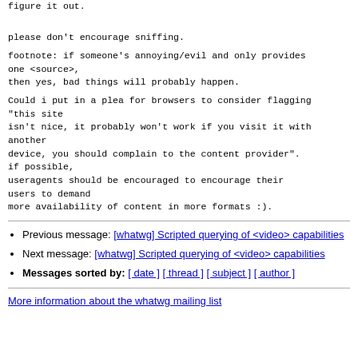figure it out.
please don't encourage sniffing.
footnote: if someone's annoying/evil and only provides one <source>,
then yes, bad things will probably happen.
Could i put in a plea for browsers to consider flagging "this site
isn't nice, it probably won't work if you visit it with another
device, you should complain to the content provider".
if possible,
useragents should be encouraged to encourage their users to demand
more availability of content in more formats :).
Previous message: [whatwg] Scripted querying of <video> capabilities
Next message: [whatwg] Scripted querying of <video> capabilities
Messages sorted by: [ date ] [ thread ] [ subject ] [ author ]
More information about the whatwg mailing list